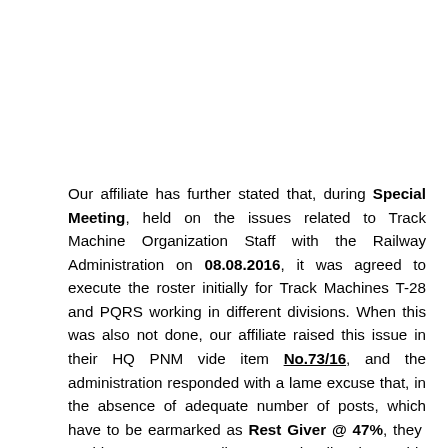Our affiliate has further stated that, during Special Meeting, held on the issues related to Track Machine Organization Staff with the Railway Administration on 08.08.2016, it was agreed to execute the roster initially for Track Machines T-28 and PQRS working in different divisions. When this was also not done, our affiliate raised this issue in their HQ PNM vide item No.73/16, and the administration responded with a lame excuse that, in the absence of adequate number of posts, which have to be earmarked as Rest Giver @ 47%, they could not execute Railway Board's directives. This decision is very much detrimental against the interest of the staff.